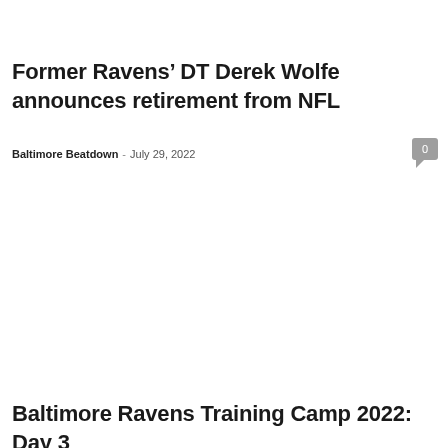Former Ravens’ DT Derek Wolfe announces retirement from NFL
Baltimore Beatdown - July 29, 2022
Baltimore Ravens Training Camp 2022: Day 3